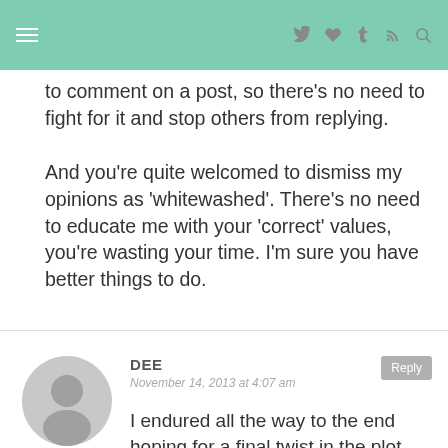navigation header with hamburger menu and icons
to comment on a post, so there's no need to fight for it and stop others from replying.
And you're quite welcomed to dismiss my opinions as 'whitewashed'. There's no need to educate me with your 'correct' values, you're wasting your time. I'm sure you have better things to do.
DEE — November 14, 2013 at 4:07 am
I endured all the way to the end hoping for a final twist in the plot but it was disappointing if...